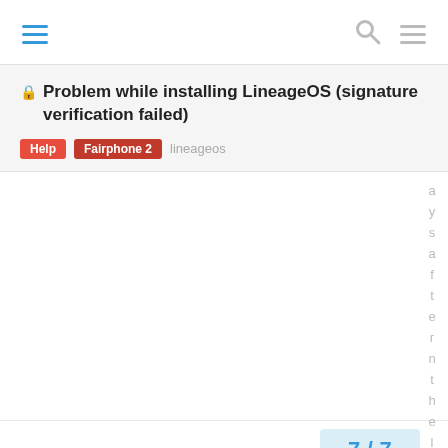Navigation header with hamburger menu, search icon, and menu icon
Problem while installing LineageOS (signature verification failed)
Help
Fairphone 2
lineageos
a y s a f t e r n t h e l a s
7 / 7